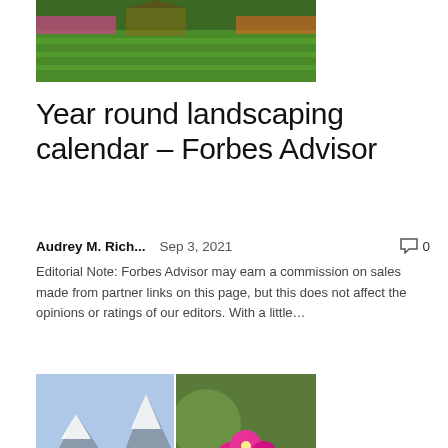[Figure (photo): Aerial or ground-level view of a lush green landscaped lawn with flower borders and a house in the background]
Year round landscaping calendar – Forbes Advisor
Audrey M. Rich...   Sep 3, 2021   0
Editorial Note: Forbes Advisor may earn a commission on sales made from partner links on this page, but this does not affect the opinions or ratings of our editors. With a little...
[Figure (photo): Two side-by-side photos: left shows a snowy winter landscape with pine trees and mountains; right shows a cactus with bright pink flowers blooming]
Wh...